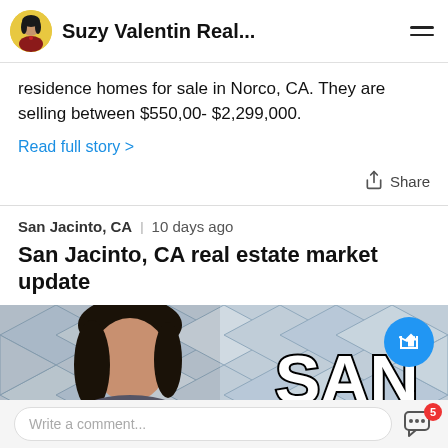Suzy Valentin Real...
residence homes for sale in Norco, CA. They are selling between $550,00- $2,299,000.
Read full story >
Share
San Jacinto, CA  10 days ago
San Jacinto, CA real estate market update
[Figure (photo): Photo banner showing a woman with dark hair against a diamond-pattern tile background, with large text 'SAN' visible on the right side]
Write a comment...